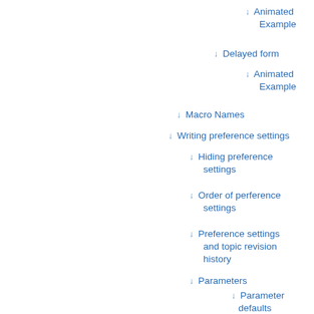↓ Animated Example
↓ Delayed form
↓ Animated Example
↓ Macro Names
↓ Writing preference settings
↓ Hiding preference settings
↓ Order of perference settings
↓ Preference settings and topic revision history
↓ Parameters
↓ Parameter defaults
↓ Access Control Settings
↓ Local values for